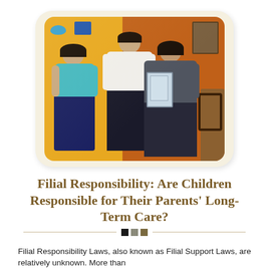[Figure (photo): Three people posing together in what appears to be a restaurant. A woman in a teal shirt and dark apron on the left, a man in white chef's shirt in the center, and a woman in a dark jacket holding a folder on the right. The background has yellow and orange walls with decorative items.]
Filial Responsibility: Are Children Responsible for Their Parents' Long-Term Care?
Filial Responsibility Laws, also known as Filial Support Laws, are relatively unknown. More than